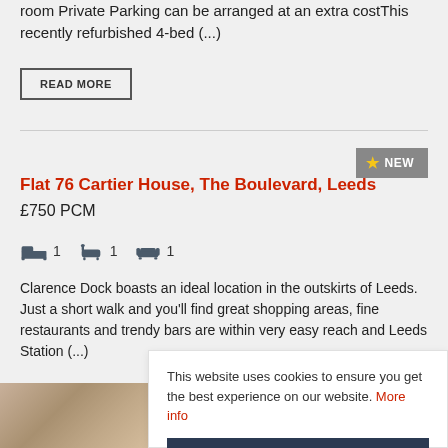room  Private Parking can be arranged at an extra costThis recently refurbished 4-bed (...)
READ MORE
Flat 76 Cartier House, The Boulevard, Leeds
£750 PCM
1  1  1
Clarence Dock boasts an ideal location in the outskirts of Leeds. Just a short walk and you'll find great shopping areas, fine restaurants and trendy bars are within very easy reach and Leeds Station (...)
READ MORE
[Figure (photo): Interior photo of a room, partially visible at bottom left]
This website uses cookies to ensure you get the best experience on our website. More info
GOT IT!